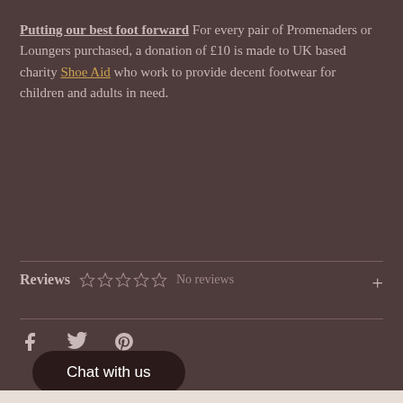Putting our best foot forward For every pair of Promenaders or Loungers purchased, a donation of £10 is made to UK based charity Shoe Aid who work to provide decent footwear for children and adults in need.
Reviews ☆☆☆☆☆ No reviews +
[Figure (other): Social media icons row: Facebook (f), Twitter (bird), Pinterest (P)]
Chat with us